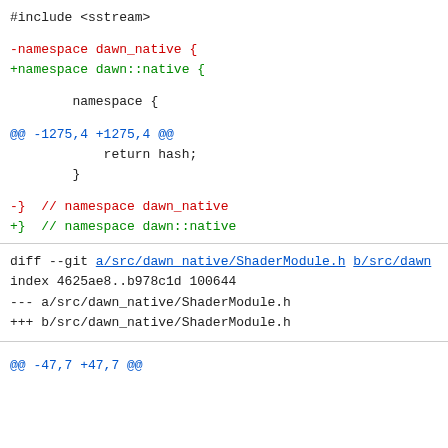#include <sstream>
-namespace dawn_native {
+namespace dawn::native {
namespace {
@@ -1275,4 +1275,4 @@
            return hash;
        }
-}  // namespace dawn_native
+}  // namespace dawn::native
diff --git a/src/dawn_native/ShaderModule.h b/src/dawn_native/ShaderModule.h
index 4625ae8..b978c1d 100644
--- a/src/dawn_native/ShaderModule.h
+++ b/src/dawn_native/ShaderModule.h
@@ -47,7 +47,7 @@